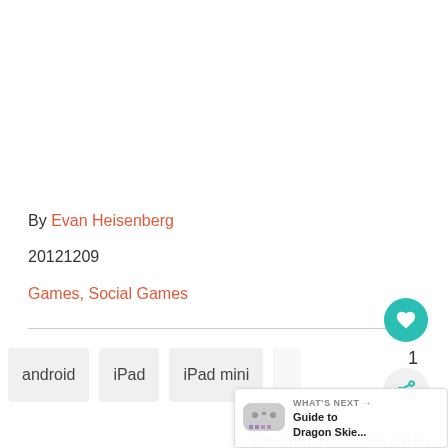By Evan Heisenberg
20121209
Games, Social Games
android
iPad
iPad mini
iPod touch
ski safari
[Figure (other): WHAT'S NEXT arrow label with game controller icon and text: Guide to Dragon Skie...]